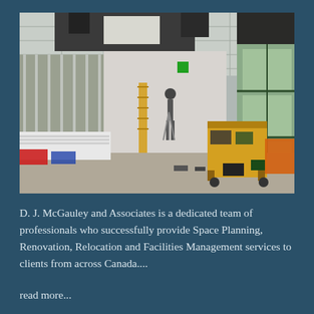[Figure (photo): Interior of a commercial space under renovation: exposed metal stud framing on left wall, drywall panels stacked on floor, ladders, construction equipment and tools scattered around, yellow utility cart on right side, large windows visible at right, drop ceiling with some panels removed.]
D. J. McGauley and Associates is a dedicated team of professionals who successfully provide Space Planning, Renovation, Relocation and Facilities Management services to clients from across Canada....
read more...